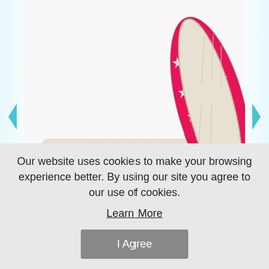[Figure (photo): A rolled pink fleece blanket with white stars pattern on the outside and cream/white sherpa fleece on the inside, shown from the rolled/side angle on a white background.]
$36.61
ADD TO CART
Our website uses cookies to make your browsing experience better. By using our site you agree to our use of cookies.
Learn More
I Agree